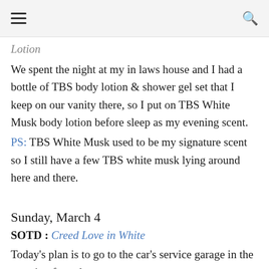[hamburger menu] [search icon]
Lotion
We spent the night at my in laws house and I had a bottle of TBS body lotion & shower gel set that I keep on our vanity there, so I put on TBS White Musk body lotion before sleep as my evening scent.
PS: TBS White Musk used to be my signature scent so I still have a few TBS white musk lying around here and there.
Sunday, March 4
SOTD : Creed Love in White
Today's plan is to go to the car's service garage in the morning for a due